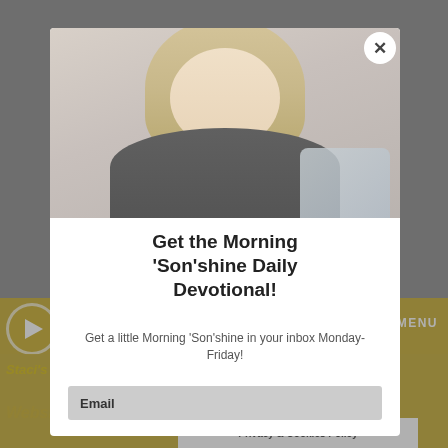[Figure (screenshot): Website screenshot showing a podcast player page with a modal popup overlay. The background shows a dimmed podcast website with a yellow/gold player bar and episode info. A modal dialog overlays showing a woman smiling, with text promoting a Morning Son'shine Daily Devotional email signup.]
Get the Morning 'Son'shine Daily Devotional!
Get a little Morning 'Son'shine in your inbox Monday-Friday!
Email
Staci's contact info:
Website
Privacy & Cookies Policy
00:00:00
MENU
Episode #221: Fueled By Him: An Interview Wi...